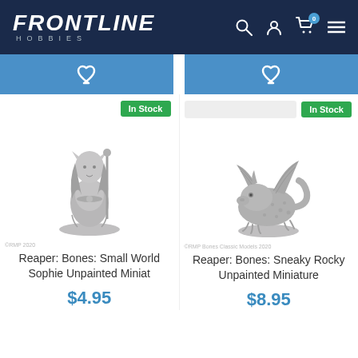FRONTLINE HOBBIES
[Figure (screenshot): Two product cards from Frontline Hobbies e-commerce website showing miniature figurines with In Stock badges, product names, and prices.]
©RMP 2020
©RMP Bones Classic Models 2020
Reaper: Bones: Small World Sophie Unpainted Miniat
Reaper: Bones: Sneaky Rocky Unpainted Miniature
$4.95
$8.95